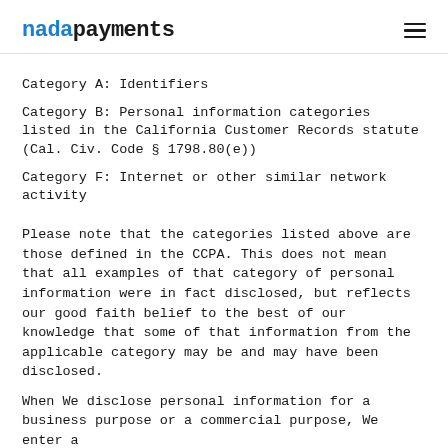nadapayments
Category A: Identifiers
Category B: Personal information categories listed in the California Customer Records statute (Cal. Civ. Code § 1798.80(e))
Category F: Internet or other similar network activity
Please note that the categories listed above are those defined in the CCPA. This does not mean that all examples of that category of personal information were in fact disclosed, but reflects our good faith belief to the best of our knowledge that some of that information from the applicable category may be and may have been disclosed.
When We disclose personal information for a business purpose or a commercial purpose, We enter a